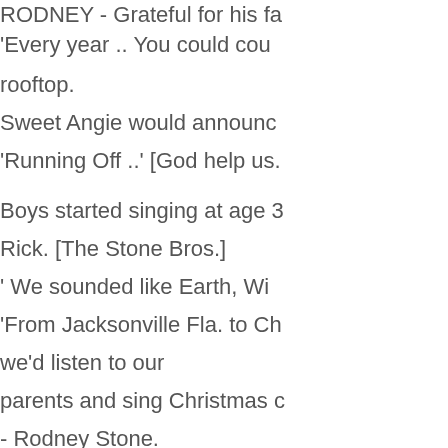RODNEY - Grateful for his fa... 'Every year .. You could cou... rooftop. Sweet Angie would announc... 'Running Off ..' [God help us...
Boys started singing at age 3... Rick. [The Stone Bros.] ' We sounded like Earth, Wi... 'From Jacksonville Fla. to Ch... we'd listen to our parents and sing Christmas c... - Rodney Stone.
Stone Brothers music avail. a... Check out the Acapebble CD...
Rodney produced The Pistol... 2 Diff. versions. The Reboun... It sold in 60 foreign countries...
Rodney also had Roun M...